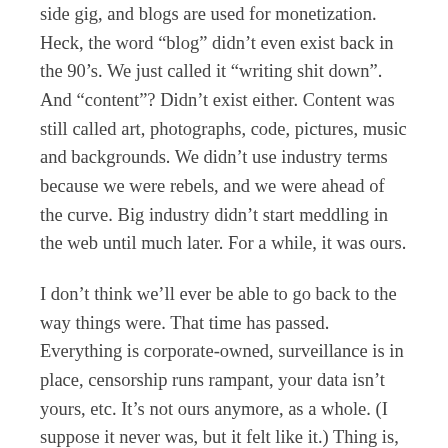side gig, and blogs are used for monetization. Heck, the word “blog” didn’t even exist back in the 90’s. We just called it “writing shit down”. And “content”? Didn’t exist either. Content was still called art, photographs, code, pictures, music and backgrounds. We didn’t use industry terms because we were rebels, and we were ahead of the curve. Big industry didn’t start meddling in the web until much later. For a while, it was ours.
I don’t think we’ll ever be able to go back to the way things were. That time has passed. Everything is corporate-owned, surveillance is in place, censorship runs rampant, your data isn’t yours, etc. It’s not ours anymore, as a whole. (I suppose it never was, but it felt like it.) Thing is, there’s one thing you can still do: create your own website and make it your very own space online. We have to get rid of this idea that everything has to be practical these days. Not every